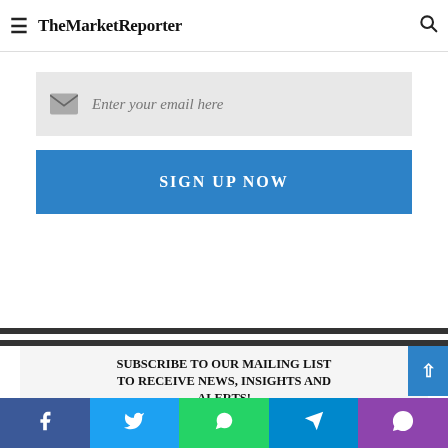TheMarketReporter
TO RECEIVE NEWS, INSIGHTS AND ALERTS!
[Figure (screenshot): Email input field with envelope icon and placeholder text 'Enter your email here']
SIGN UP NOW
SUBSCRIBE TO OUR MAILING LIST TO RECEIVE NEWS, INSIGHTS AND ALERTS!
[Figure (infographic): Social share bar with Facebook, Twitter, WhatsApp, Telegram, and Viber buttons]